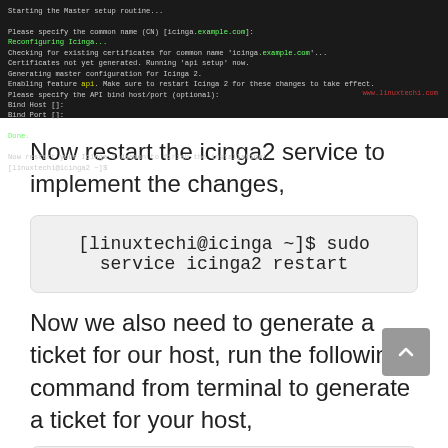[Figure (screenshot): Terminal screenshot showing Icinga2 master setup routine output with green/red colored text, including certificate generation, API setup, bind host/port prompts, and restart instructions. Watermark: www.linuxtechi.com]
Now restart the icinga2 service to implement the changes,
[linuxtechi@icinga ~]$ sudo service icinga2 restart
Now we also need to generate a ticket for our host, run the following command from terminal to generate a ticket for your host,